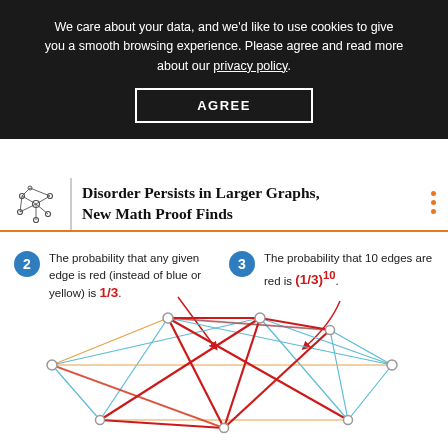We care about your data, and we'd like to use cookies to give you a smooth browsing experience. Please agree and read more about our privacy policy.
AGREE
Disorder Persists in Larger Graphs, New Math Proof Finds
2 The probability that any given edge is red (instead of blue or yellow) is 1/3.
3 The probability that 10 edges are red is (1/3)^10.
[Figure (infographic): A graph diagram with multiple vertices connected by edges colored red, blue/cyan, and yellow/orange. Two arrows point to highlighted red edges illustrating the probability annotations above.]